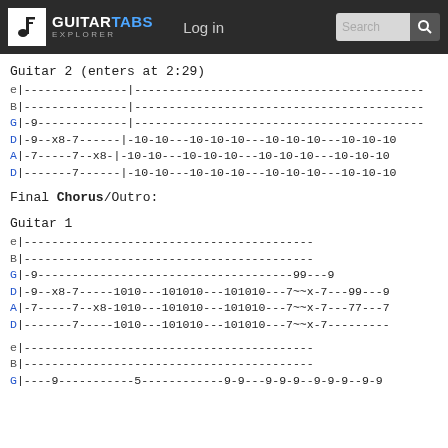GUITARTABS EXPLORER | Log in | Search
Guitar 2 (enters at 2:29)
e|---------------|------------------------------------------
B|---------------|------------------------------------------
G|-9-------------|------------------------------------------
D|-9--x8-7------|--10-10---10-10-10---10-10-10---10-10-10
A|-7-----7--x8- |--10-10---10-10-10---10-10-10---10-10-10
D|-------7------|--10-10---10-10-10---10-10-10---10-10-10
Final Chorus/Outro:
Guitar 1
e|------------------------------------------
B|------------------------------------------
G|-9-------------------------------------99---9
D|-9--x8-7-----1010---101010---101010---7~~x-7---99---9
A|-7-----7--x8-1010---101010---101010---7~~x-7---77---7
D|-------7-----1010---101010---101010---7~~x-7---------
e|------------------------------------------
B|------------------------------------------
G|----9-----------5------------9-9---9-9-9--9-9-9--9-9